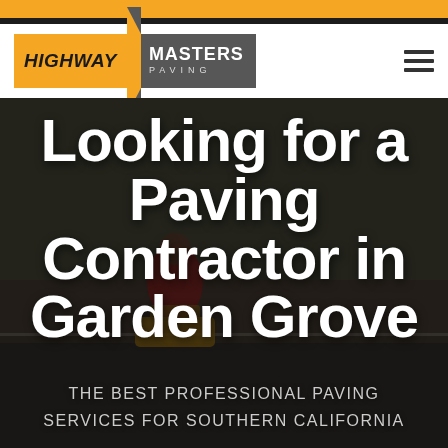[Figure (logo): Highway Masters Paving logo — orange block with HIGHWAY text, dark grey block with MASTERS PAVING text, and a curved arrow divider]
Looking for a Paving Contractor in Garden Grove
THE BEST PROFESSIONAL PAVING SERVICES FOR SOUTHERN CALIFORNIA